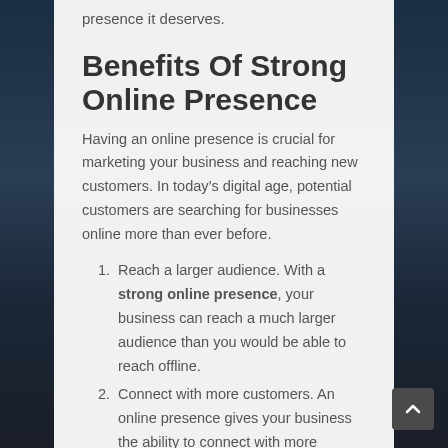presence it deserves.
Benefits Of Strong Online Presence
Having an online presence is crucial for marketing your business and reaching new customers. In today’s digital age, potential customers are searching for businesses online more than ever before.
Reach a larger audience. With a strong online presence, your business can reach a much larger audience than you would be able to reach offline.
Connect with more customers. An online presence gives your business the ability to connect with more customers than ever